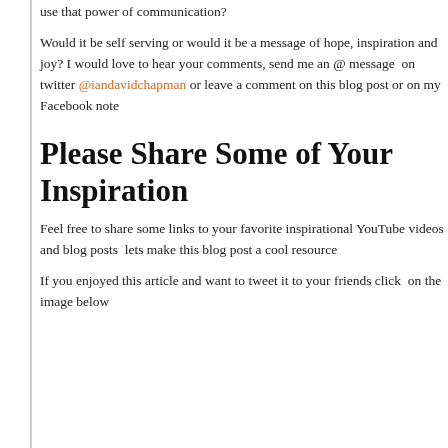use that power of communication?
Would it be self serving or would it be a message of hope, inspiration and joy? I would love to hear your comments, send me an @ message  on twitter @iandavidchapman or leave a comment on this blog post or on my Facebook note
Please Share Some of Your Inspiration
Feel free to share some links to your favorite inspirational YouTube videos and blog posts  lets make this blog post a cool resource
If you enjoyed this article and want to tweet it to your friends click  on the image below